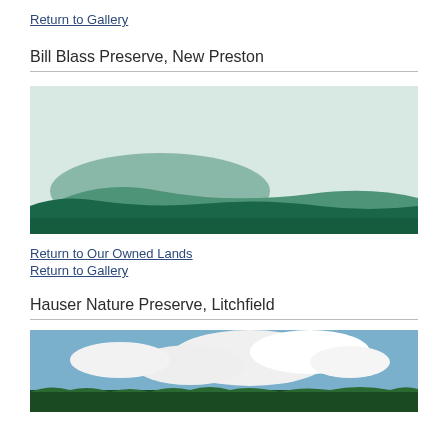Return to Gallery
Bill Blass Preserve, New Preston
[Figure (illustration): Stylized landscape illustration of rolling green hills with dark green foreground, lighter green mid-ground hills, and a pale mint/light blue-green sky background.]
Return to Our Owned Lands
Return to Gallery
Hauser Nature Preserve, Litchfield
[Figure (photo): Photograph of an open field or preserve area under a partly cloudy sky with large white clouds, and a treeline of dark green trees visible at the bottom of the image.]